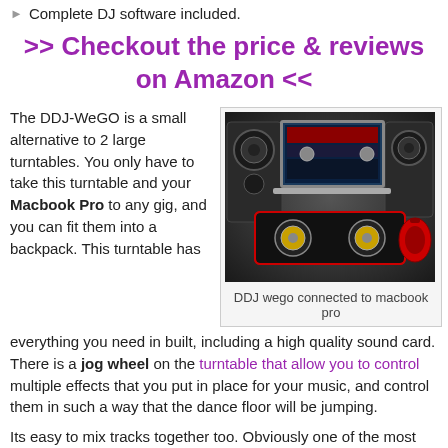Complete DJ software included.
>> Checkout the price & reviews on Amazon <<
The DDJ-WeGO is a small alternative to 2 large turntables. You only have to take this turntable and your Macbook Pro to any gig, and you can fit them into a backpack. This turntable has everything you need in built, including a high quality sound card. There is a jog wheel on the turntable that allow you to control multiple effects that you put in place for your music, and control them in such a way that the dance floor will be jumping.
[Figure (photo): DDJ wego DJ controller connected to a MacBook Pro, with speakers and red headphones]
DDJ wego connected to macbook pro
Its easy to mix tracks together too. Obviously one of the most important skills as a DJ. There is a pulse control feature that allows you to have visual prompts from the platters, to tell exactly when that critical mix moment is